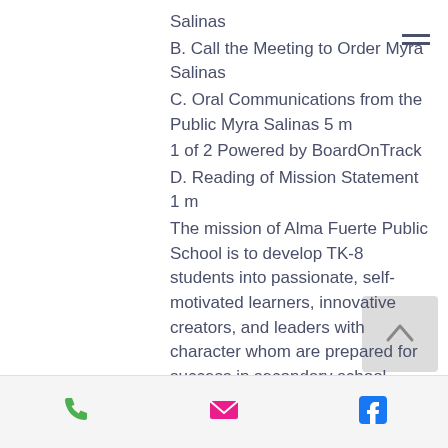Salinas
B. Call the Meeting to Order Myra Salinas
C. Oral Communications from the Public Myra Salinas 5 m
1 of 2 Powered by BoardOnTrack
D. Reading of Mission Statement 1 m
The mission of Alma Fuerte Public School is to develop TK-8 students into passionate, self- motivated learners, innovative creators, and leaders with character whom are prepared for success in secondary school, college, and 21st century careers. E. Approve Minutes from September 20 Board Meeting
Approve Minutes Myra Salinas 5 m